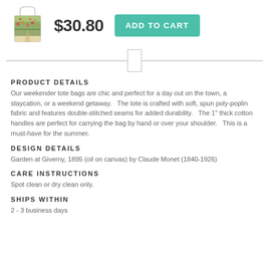[Figure (photo): Tote bag with floral painting print and white handles]
$30.80
ADD TO CART
PRODUCT DETAILS
Our weekender tote bags are chic and perfect for a day out on the town, a staycation, or a weekend getaway.   The tote is crafted with soft, spun poly-poplin fabric and features double-stitched seams for added durability.   The 1" thick cotton handles are perfect for carrying the bag by hand or over your shoulder.   This is a must-have for the summer.
DESIGN DETAILS
Garden at Giverny, 1895 (oil on canvas) by Claude Monet (1840-1926)
CARE INSTRUCTIONS
Spot clean or dry clean only.
SHIPS WITHIN
2 - 3 business days